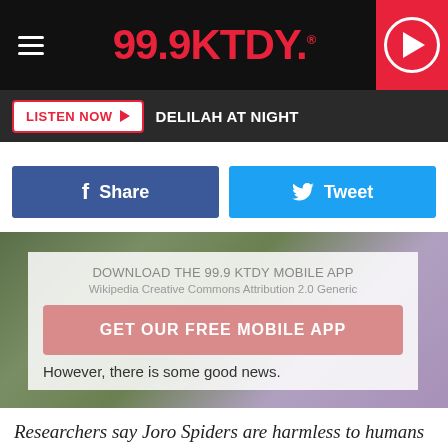[Figure (screenshot): 99.9 KTDY radio station header with red logo, hamburger menu icon, and red play button circle on right]
LISTEN NOW ▶  DELILAH AT NIGHT
Share   Tweet
[Figure (screenshot): App download overlay on blurred nature background: DOWNLOAD THE 99.9 KTDY MOBILE APP / Wikipedia Creative Commons Attribution 2.0 Generic / GET OUR FREE MOBILE APP button / However, there is some good news.]
Researchers say Joro Spiders are harmless to humans because their fangs are too small to break human skin.
The invasive species' life cycle begins in early spring in which they use their webs as parachutes.